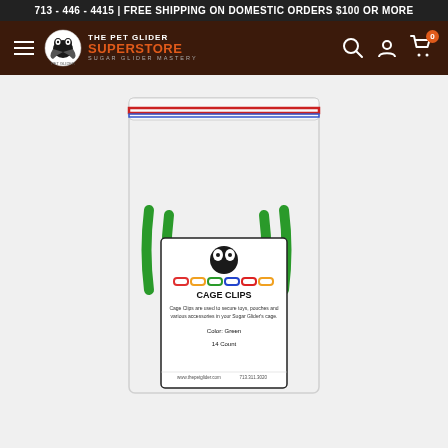713 - 446 - 4415 | FREE SHIPPING ON DOMESTIC ORDERS $100 OR MORE
[Figure (screenshot): The Pet Glider Superstore navigation bar with logo, hamburger menu, search, account and cart icons]
[Figure (photo): A clear zip-lock bag containing green plastic cage clips for Sugar Gliders. The label on the bag shows The Pet Glider logo, colorful chain clip illustration, text CAGE CLIPS, description 'Cage Clips are used to secure toys, pouches and various accessories in your Sugar Glider's cage.', Color: Green, 14 Count, www.thepetglider.com, 713.311.3020]